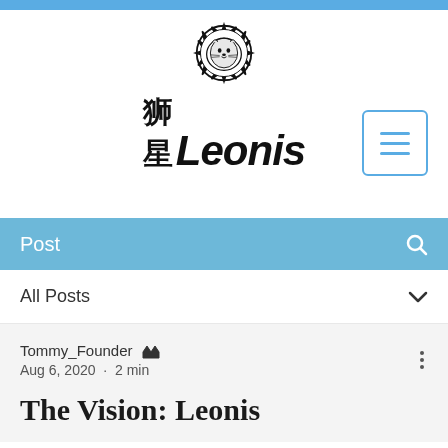[Figure (logo): Leonis company logo featuring a lion head emblem above Chinese characters 狮星 and the word Leonis in large bold font]
Post
All Posts
Tommy_Founder 👑
Aug 6, 2020 · 2 min
The Vision: Leonis